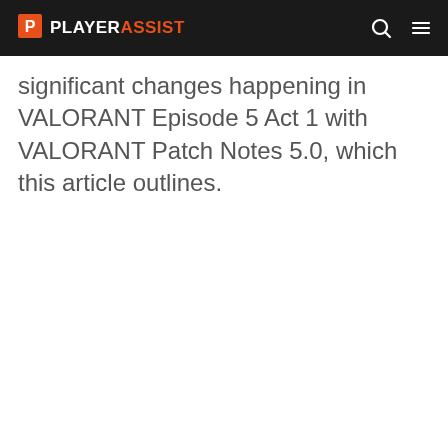PLAYERASSIST
significant changes happening in VALORANT Episode 5 Act 1 with VALORANT Patch Notes 5.0, which this article outlines.